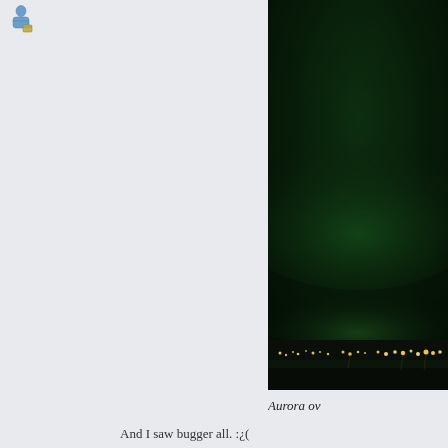[Figure (photo): Small user/person icon in top-left corner of a forum or social media post]
[Figure (photo): Night-time photograph of what appears to be an Aurora Borealis (Northern Lights) over a dark landscape with town lights visible along the horizon at the bottom]
Aurora ov
And I saw bugger all. :¿(